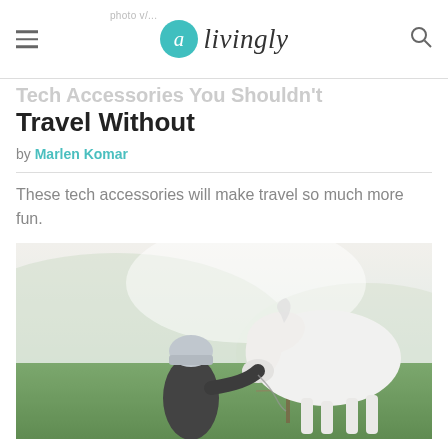livingly
Tech Accessories You Shouldn't Travel Without
by Marlen Komar
These tech accessories will make travel so much more fun.
[Figure (photo): Person wearing a knit hat, seen from behind, petting a white horse in a green field with misty hills in the background.]